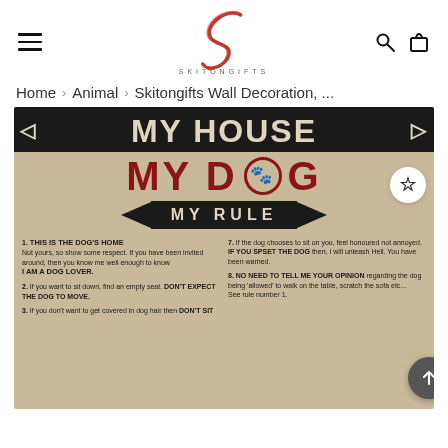SKITONGIFTS (navigation header with hamburger menu, logo, search and bag icons)
Home › Animal › Skitongifts Wall Decoration, ...
[Figure (photo): Product image of a vintage-style poster reading MY HOUSE MY DOG MY RULE with a numbered list of house rules for dog owners. The poster has a distressed parchment background with black and dark red typography.]
1. THIS IS THE DOG'S HOME Not yours, so show some respect. If you have been invited around, then you know me well enough to know I AM A DOG LOVER.
2. If you want to sit down, find an empty seat. DON'T EXPECT THE DOG TO MOVE.
3. If you don't want to get covered in dog hair then DON'T SIT
7. If the dog chooses to sit on you, feel honoured not annoyed. IF YOU SPSET THE DOG then, I will unleash Hell. You have been warned.
8. NO NEED TO TELL ME YOUR OPINION regarding the dog being 'allowed' to walk on the table, scratch the sofa etc... See rule number 1.